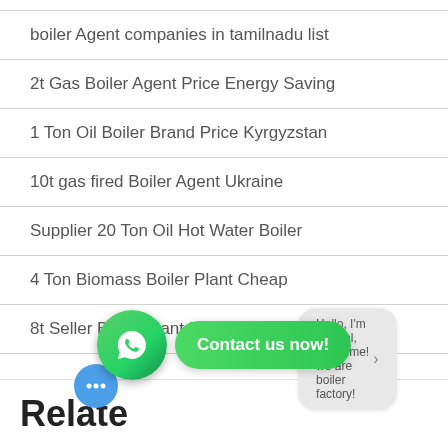boiler Agent companies in tamilnadu list
2t Gas Boiler Agent Price Energy Saving
1 Ton Oil Boiler Brand Price Kyrgyzstan
10t gas fired Boiler Agent Ukraine
Supplier 20 Ton Oil Hot Water Boiler
4 Ton Biomass Boiler Plant Cheap
8t Seller Boiler Plant Belarus
[Figure (other): WhatsApp contact button with green icon and 'Contact us now!' green pill button]
Relate
[Figure (other): Chat bubble with text 'Hello, I'm Rachel, Welcome! we are boiler factory!' and blue chat icon]